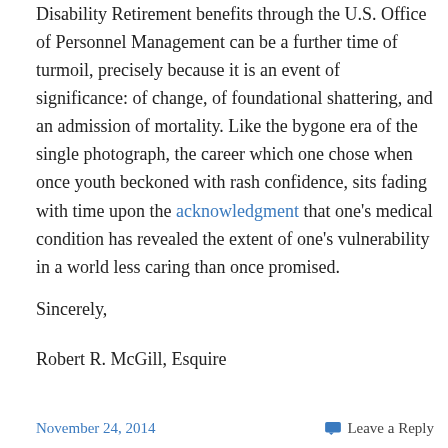Disability Retirement benefits through the U.S. Office of Personnel Management can be a further time of turmoil, precisely because it is an event of significance: of change, of foundational shattering, and an admission of mortality. Like the bygone era of the single photograph, the career which one chose when once youth beckoned with rash confidence, sits fading with time upon the acknowledgment that one’s medical condition has revealed the extent of one’s vulnerability in a world less caring than once promised.
Sincerely,
Robert R. McGill, Esquire
November 24, 2014    Leave a Reply